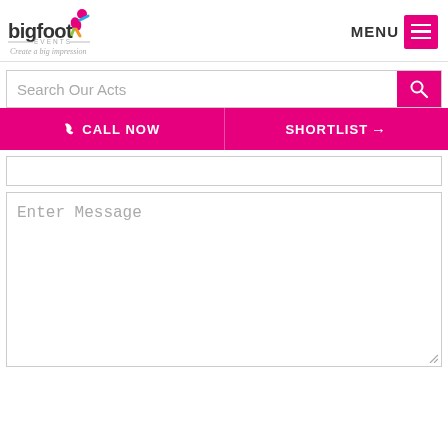[Figure (logo): Bigfoot Events logo with colorful figure and tagline 'Create a big impression']
MENU
Search Our Acts
CALL NOW
SHORTLIST →
Enter Message